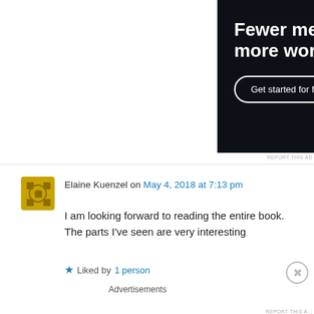[Figure (other): Dark advertisement banner with text 'Fewer meetings, more work.' and a 'Get started for free' button]
REPORT THIS AD
Elaine Kuenzel on May 4, 2018 at 7:13 pm
I am looking forward to reading the entire book. The parts I've seen are very interesting
Liked by 1 person
Advertisements
[Figure (other): Seamless food delivery advertisement with pizza image, Seamless logo, and ORDER NOW button]